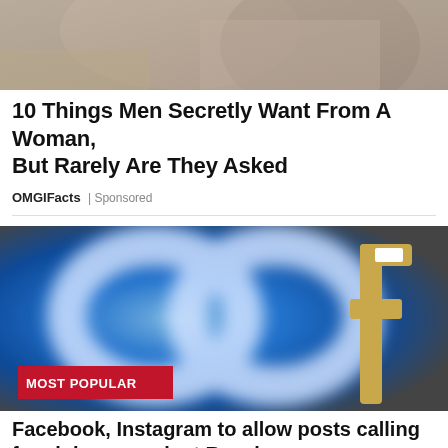[Figure (photo): Partial photo of two people, cropped at top of page]
10 Things Men Secretly Want From A Woman, But Rarely Are They Asked
OMGIFacts | Sponsored
[Figure (photo): Photo of Meta logo (infinity symbol) blurred blue background with gold Facebook 'f' logo in foreground, with red 'MOST POPULAR' badge overlay]
Facebook, Instagram to allow posts calling for violence against Russians